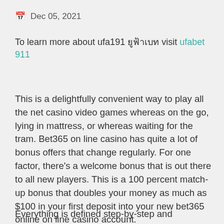Dec 05, 2021
To learn more about ufa191 ยูฟ่าเบท visit ufabet 911
This is a delightfully convenient way to play all the net casino video games whereas on the go, lying in mattress, or whereas waiting for the tram. Bet365 on line casino has quite a lot of bonus offers that change regularly. For one factor, there's a welcome bonus that is out there to all new players. This is a 100 percent match-up bonus that doubles your money as much as $100 in your first deposit into your new bet365 online on line casino account.
Everything is defined step-by-step and additionally,